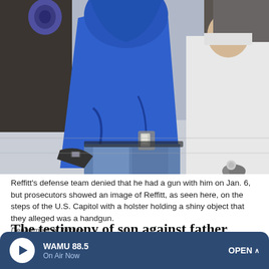[Figure (photo): A person in a blue hoodie or jacket, seen from behind/side at the U.S. Capitol steps, surrounded by other people. A holster with a shiny object is visible at their waist.]
Reffitt's defense team denied that he had a gun with him on Jan. 6, but prosecutors showed an image of Reffitt, as seen here, on the steps of the U.S. Capitol with a holster holding a shiny object that they alleged was a handgun. Department of Justice
The testimony of son against father made for the most